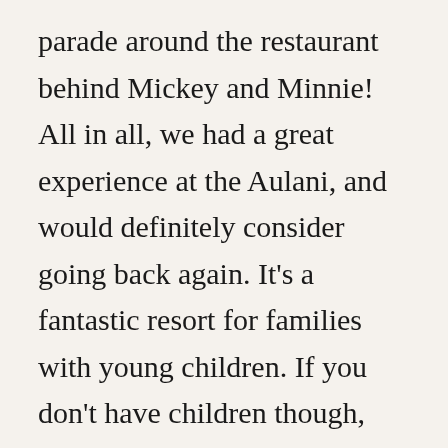parade around the restaurant behind Mickey and Minnie! All in all, we had a great experience at the Aulani, and would definitely consider going back again. It's a fantastic resort for families with young children. If you don't have children though, you may get annoyed and overwhelmed with all the noise and little feet running